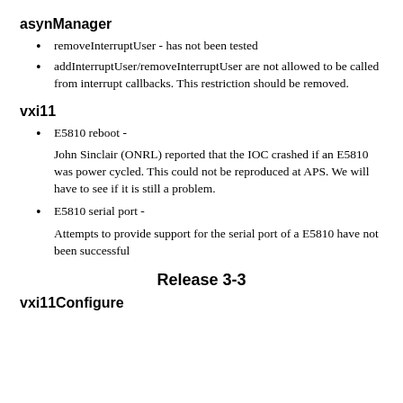asynManager
removeInterruptUser - has not been tested
addInterruptUser/removeInterruptUser are not allowed to be called from interrupt callbacks. This restriction should be removed.
vxi11
E5810 reboot -
John Sinclair (ONRL) reported that the IOC crashed if an E5810 was power cycled. This could not be reproduced at APS. We will have to see if it is still a problem.
E5810 serial port -
Attempts to provide support for the serial port of a E5810 have not been successful
Release 3-3
vxi11Configure